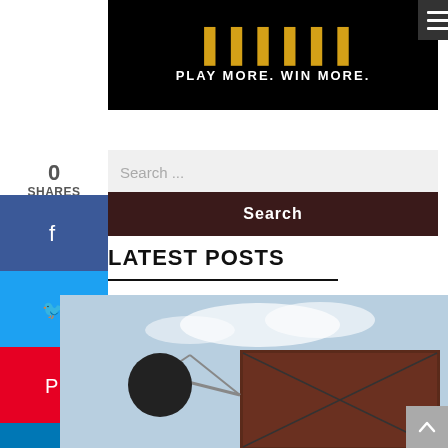[Figure (screenshot): Ad banner with dark background, gold stylized logo text, and white tagline 'PLAY MORE. WIN MORE.' with hamburger menu icon top right]
0
SHARES
[Figure (infographic): Social sharing sidebar with Facebook, Twitter, Pinterest, LinkedIn, Email, and Print buttons]
Search ...
Search
LATEST POSTS
[Figure (photo): Outdoor photo showing a building sign/billboard structure against a partly cloudy sky]